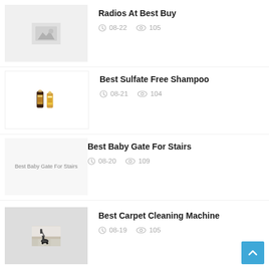Radios At Best Buy | 08-22 | 105 views
Best Sulfate Free Shampoo | 08-21 | 104 views
Best Baby Gate For Stairs | 08-20 | 109 views
Best Carpet Cleaning Machine | 08-19 | 105 views